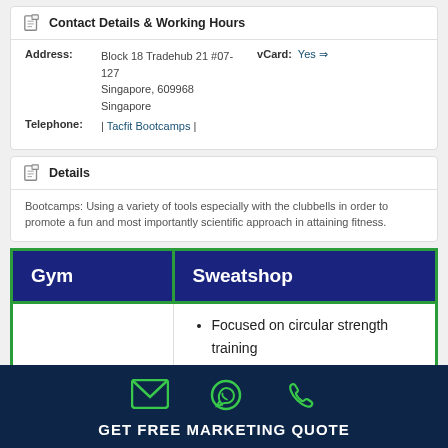Contact Details & Working Hours
Address: Block 18 Tradehub 21 #07-127 Singapore, 609968 Singapore   vCard: Yes ⇒
Telephone: | Tacfit Bootcamps |
Details
Bootcamps: Using a variety of tools especially with the clubbells in order to promote a fun and most importantly scientific approach in attaining fitness.
| Gym | Sweatshop |
| --- | --- |
|  | Focused on circular strength training
Offers gym rings, pull-up bars, ropes, clubbells, |
GET FREE MARKETING QUOTE